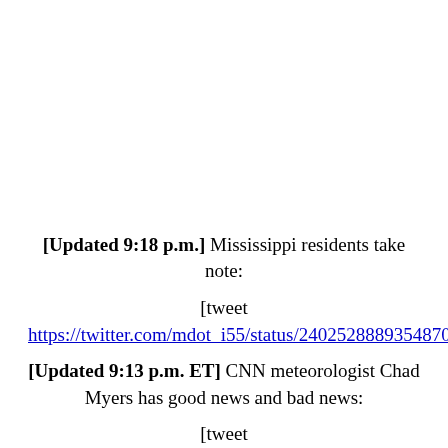[Updated 9:18 p.m.] Mississippi residents take note:
[tweet https://twitter.com/mdot_i55/status/24025288893548708784%5D
[Updated 9:13 p.m. ET] CNN meteorologist Chad Myers has good news and bad news:
[tweet